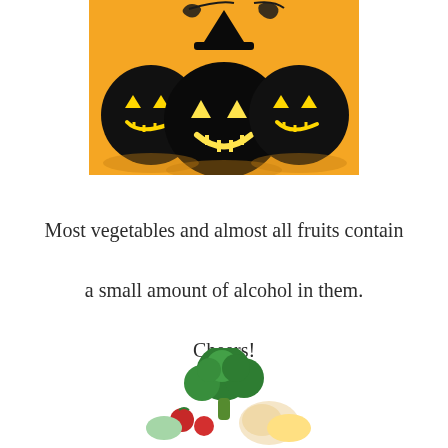[Figure (illustration): Three black jack-o-lanterns with glowing yellow eyes and mouths on an orange background. The center pumpkin wears a witch hat. Decorative swirls above.]
Most vegetables and almost all fruits contain a small amount of alcohol in them. Cheers!
[Figure (photo): Vegetables including broccoli, tomatoes, and other produce on a white background, partially cropped at bottom.]